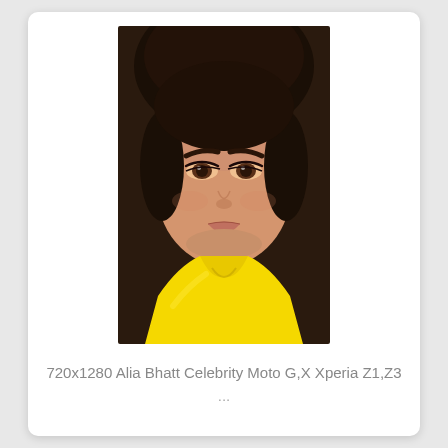[Figure (photo): Close-up portrait of a young woman with brown hair pulled back, wearing a bright yellow top or jacket. She has brown eyes, well-defined brows, and a neutral expression. The background is dark/blurred. The photo appears to be a professional celebrity headshot.]
720x1280 Alia Bhatt Celebrity Moto G,X Xperia Z1,Z3 ...